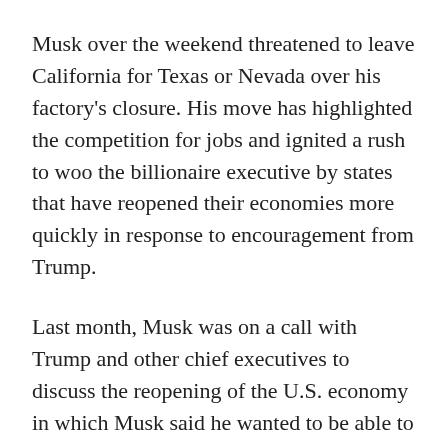Musk over the weekend threatened to leave California for Texas or Nevada over his factory's closure. His move has highlighted the competition for jobs and ignited a rush to woo the billionaire executive by states that have reopened their economies more quickly in response to encouragement from Trump.
Last month, Musk was on a call with Trump and other chief executives to discuss the reopening of the U.S. economy in which Musk said he wanted to be able to resume production by May 1 or earlier, a person briefed on the call confirmed. Details of the call were reported earlier by the Washington Post.
Musk's fight with local authorities has gotten the